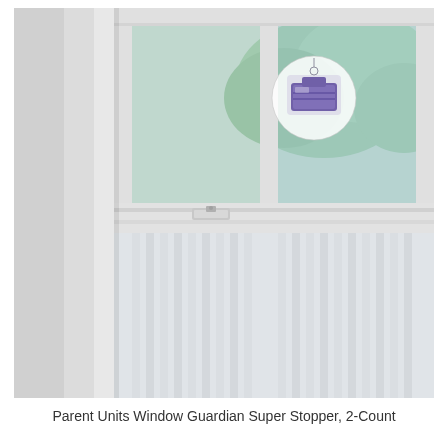[Figure (photo): A close-up photo of a white window frame with a small gray window stopper/lock device placed on the bottom sash rail. A circular product logo or badge (showing a purple window stopper icon) is overlaid on the upper-center portion of the image. The background through the window shows green trees and outdoor scenery, with vertical blinds visible in the lower portion.]
Parent Units Window Guardian Super Stopper, 2-Count